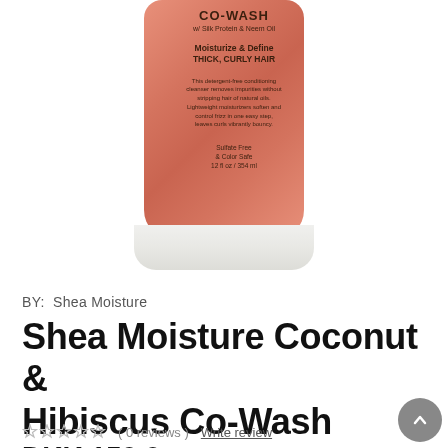[Figure (photo): A bottle of Shea Moisture Coconut & Hibiscus Co-Wash Conditioning Cleanser with a salmon/coral colored label on a white background. The bottle text reads: CO-WASH w/ Silk Protein & Neem Oil, Moisturize & Define THICK, CURLY HAIR, with description text and Sulfate Free & Color Safe 12 fl oz / 354 ml.]
BY:  Shea Moisture
Shea Moisture Coconut & Hibiscus Co-Wash Conditioning Cleanser 354 ml
☆ ☆ ☆ ☆ ☆ ( 0 reviews )  Write review
DKK 150,00